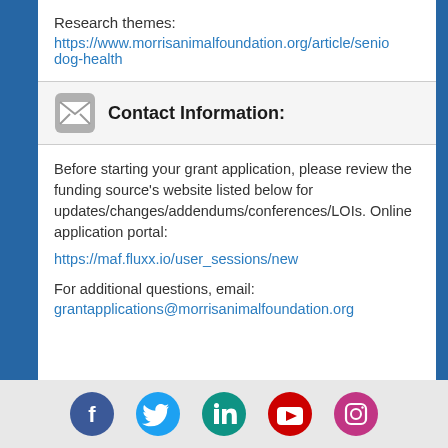Research themes:
https://www.morrisanimalfoundation.org/article/senior-dog-health
Contact Information:
Before starting your grant application, please review the funding source's website listed below for updates/changes/addendums/conferences/LOIs. Online application portal: https://maf.fluxx.io/user_sessions/new

For additional questions, email:
grantapplications@morrisanimalfoundation.org
Social media icons: Facebook, Twitter, LinkedIn, YouTube, Instagram